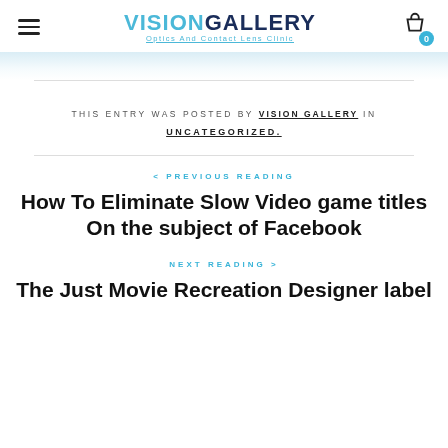VISIONGALLERY Optics And Contact Lens Clinic
THIS ENTRY WAS POSTED BY VISION GALLERY IN UNCATEGORIZED.
< PREVIOUS READING
How To Eliminate Slow Video game titles On the subject of Facebook
NEXT READING >
The Just Movie Recreation Designer label